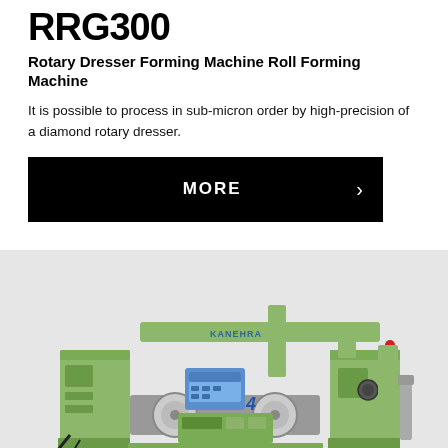RRG300
Rotary Dresser Forming Machine Roll Forming Machine
It is possible to process in sub-micron order by high-precision of a diamond rotary dresser.
[Figure (other): Black button/banner with white text MORE and a right-pointing chevron arrow]
[Figure (photo): Photo of a green KANEHRA rotary dresser forming machine on a light grey background. The machine has a CNC control panel, rollers, and mechanical components in green with black accents.]